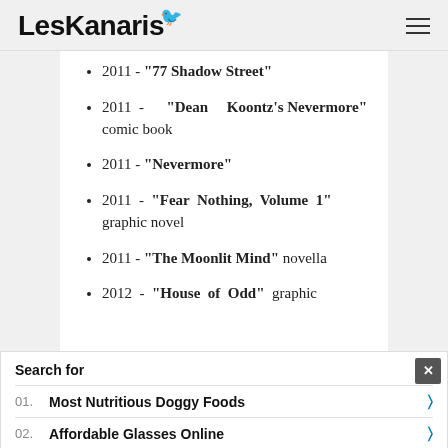LesKanaris
2011 - "77 Shadow Street"
2011 - "Dean Koontz's Nevermore" comic book
2011 - "Nevermore"
2011 - "Fear Nothing, Volume 1" graphic novel
2011 - "The Moonlit Mind" novella
2012 - "House of Odd" graphic
Search for
01. Most Nutritious Doggy Foods
02. Affordable Glasses Online
Yahoo! Search | Sponsored